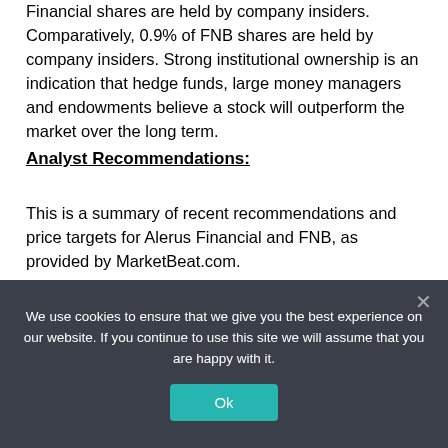Financial shares are held by company insiders. Comparatively, 0.9% of FNB shares are held by company insiders. Strong institutional ownership is an indication that hedge funds, large money managers and endowments believe a stock will outperform the market over the long term.
Analyst Recommendations:
This is a summary of recent recommendations and price targets for Alerus Financial and FNB, as provided by MarketBeat.com.
We use cookies to ensure that we give you the best experience on our website. If you continue to use this site we will assume that you are happy with it.